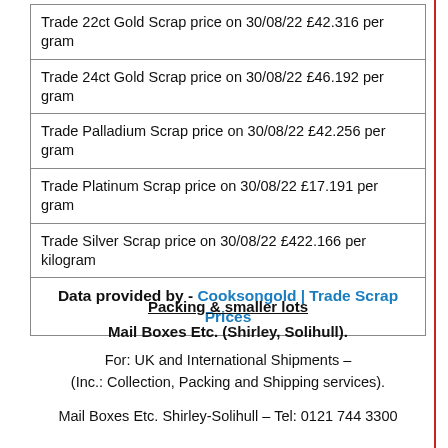| Trade 22ct Gold Scrap price on 30/08/22 £42.316 per gram |
| Trade 24ct Gold Scrap price on 30/08/22 £46.192 per gram |
| Trade Palladium Scrap price on 30/08/22 £42.256 per gram |
| Trade Platinum Scrap price on 30/08/22 £17.191 per gram |
| Trade Silver Scrap price on 30/08/22 £422.166 per kilogram |
| Data provided by - Cooksongold | Trade Scrap Prices |
Packing & smaller lots
Mail Boxes Etc. (Shirley, Solihull).
For: UK and International Shipments – (Inc.: Collection, Packing and Shipping services).
Mail Boxes Etc. Shirley-Solihull – Tel: 0121 744 3300